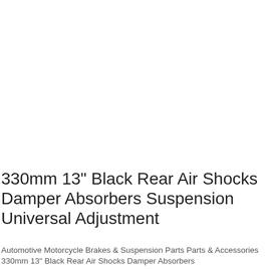[Figure (photo): White/blank product image area for motorcycle rear air shock absorbers]
330mm 13" Black Rear Air Shocks Damper Absorbers Suspension Universal Adjustment
Automotive Motorcycle Brakes & Suspension Parts Parts & Accessories 330mm 13" Black Rear Air Shocks Damper Absorbers...